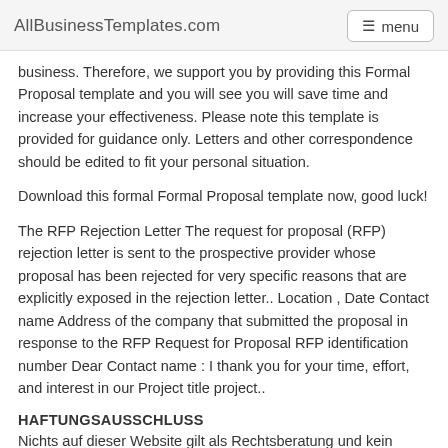AllBusinessTemplates.com   menu
business. Therefore, we support you by providing this Formal Proposal template and you will see you will save time and increase your effectiveness. Please note this template is provided for guidance only. Letters and other correspondence should be edited to fit your personal situation.
Download this formal Formal Proposal template now, good luck!
The RFP Rejection Letter The request for proposal (RFP) rejection letter is sent to the prospective provider whose proposal has been rejected for very specific reasons that are explicitly exposed in the rejection letter.. Location , Date Contact name Address of the company that submitted the proposal in response to the RFP Request for Proposal RFP identification number Dear Contact name : I thank you for your time, effort, and interest in our Project title project..
HAFTUNGSAUSSCHLUSS
Nichts auf dieser Website gilt als Rechtsberatung und kein Mandatsverhältnis wird hergestellt.